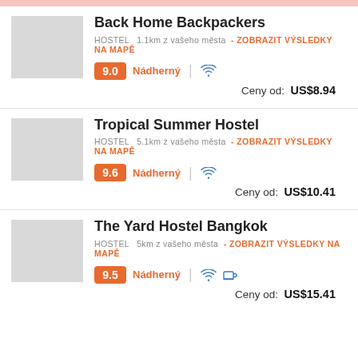Back Home Backpackers | HOSTEL 1.1km z vašeho města | ZOBRAZIT VÝSLEDKY NA MAPĚ | 9.0 Nádherný | Ceny od: US$8.94
Tropical Summer Hostel | HOSTEL 5.1km z vašeho města | ZOBRAZIT VÝSLEDKY NA MAPĚ | 9.6 Nádherný | Ceny od: US$10.41
The Yard Hostel Bangkok | HOSTEL 5km z vašeho města | ZOBRAZIT VÝSLEDKY NA MAPĚ | 9.5 Nádherný | Ceny od: US$15.41